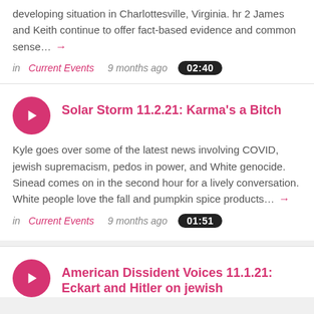developing situation in Charlottesville, Virginia. hr 2 James and Keith continue to offer fact-based evidence and common sense… →
in Current Events  9 months ago  02:40
Solar Storm 11.2.21: Karma's a Bitch
Kyle goes over some of the latest news involving COVID, jewish supremacism, pedos in power, and White genocide. Sinead comes on in the second hour for a lively conversation. White people love the fall and pumpkin spice products… →
in Current Events  9 months ago  01:51
American Dissident Voices 11.1.21: Eckart and Hitler on jewish